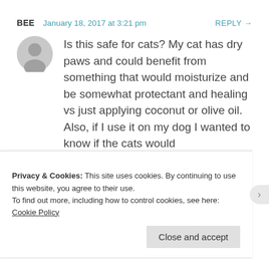BEE   January 18, 2017 at 3:21 pm   REPLY →
Is this safe for cats? My cat has dry paws and could benefit from something that would moisturize and be somewhat protectant and healing vs just applying coconut or olive oil. Also, if I use it on my dog I wanted to know if the cats would
Privacy & Cookies: This site uses cookies. By continuing to use this website, you agree to their use.
To find out more, including how to control cookies, see here: Cookie Policy
Close and accept